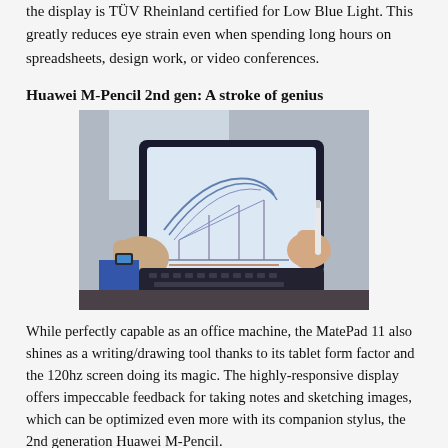the display is TÜV Rheinland certified for Low Blue Light. This greatly reduces eye strain even when spending long hours on spreadsheets, design work, or video conferences.
Huawei M-Pencil 2nd gen: A stroke of genius
[Figure (photo): Hands holding a tablet with keyboard case, displaying a sketched architectural drawing on screen. A stylus is held in the right hand. Person wearing a blue sleeve and smartwatch.]
While perfectly capable as an office machine, the MatePad 11 also shines as a writing/drawing tool thanks to its tablet form factor and the 120hz screen doing its magic. The highly-responsive display offers impeccable feedback for taking notes and sketching images, which can be optimized even more with its companion stylus, the 2nd generation Huawei M-Pencil.